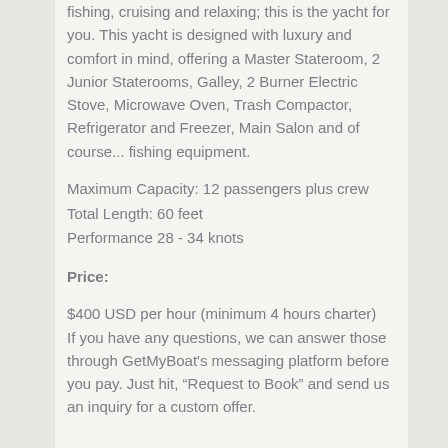fishing, cruising and relaxing; this is the yacht for you. This yacht is designed with luxury and comfort in mind, offering a Master Stateroom, 2 Junior Staterooms, Galley, 2 Burner Electric Stove, Microwave Oven, Trash Compactor, Refrigerator and Freezer, Main Salon and of course... fishing equipment.
Maximum Capacity: 12 passengers plus crew
Total Length: 60 feet
Performance 28 - 34 knots
Price:
$400 USD per hour (minimum 4 hours charter)
If you have any questions, we can answer those through GetMyBoat's messaging platform before you pay. Just hit, “Request to Book” and send us an inquiry for a custom offer.